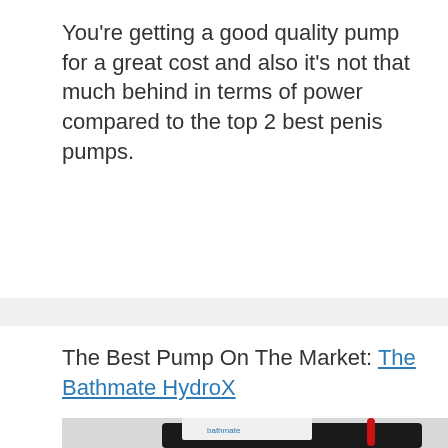You're getting a good quality pump for a great cost and also it's not that much behind in terms of power compared to the top 2 best penis pumps.
The Best Pump On The Market: The Bathmate HydroX
[Figure (photo): Photo of Bathmate HydroX product kit showing a pump device with a red tube, a carrying case, and a white cloth with the Bathmate logo]